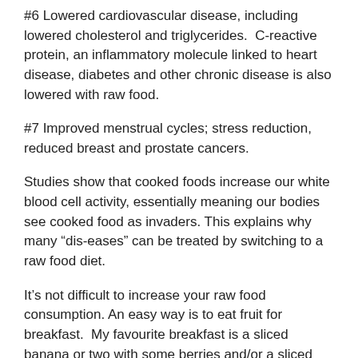#6 Lowered cardiovascular disease, including lowered cholesterol and triglycerides.  C-reactive protein, an inflammatory molecule linked to heart disease, diabetes and other chronic disease is also lowered with raw food.
#7 Improved menstrual cycles; stress reduction, reduced breast and prostate cancers.
Studies show that cooked foods increase our white blood cell activity, essentially meaning our bodies see cooked food as invaders. This explains why many “dis-eases” can be treated by switching to a raw food diet.
It’s not difficult to increase your raw food consumption. An easy way is to eat fruit for breakfast.  My favourite breakfast is a sliced banana or two with some berries and/or a sliced peach with a splash of coconut milk. If